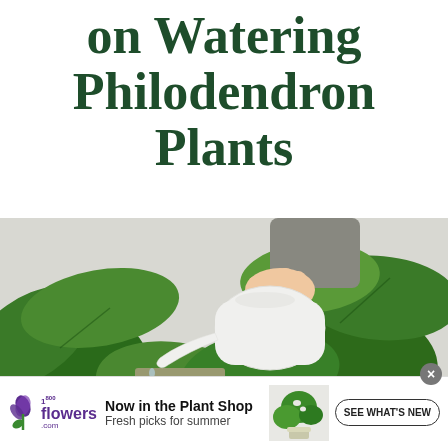on Watering Philodendron Plants
[Figure (photo): A hand holding a white watering can pouring water into a philodendron plant in a pot, with large green leaves visible against a light grey background.]
[Figure (infographic): 1-800-flowers.com advertisement banner: 'Now in the Plant Shop / Fresh picks for summer' with SEE WHAT'S NEW button and monstera plant image.]